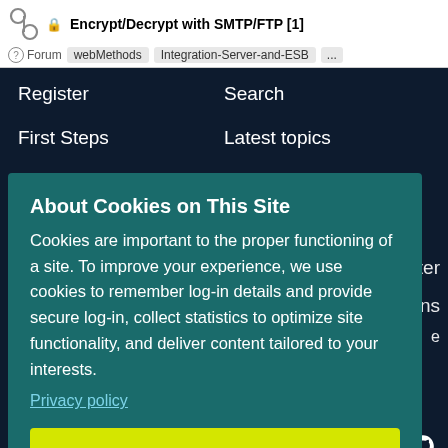Encrypt/Decrypt with SMTP/FTP [1] — Forum / webMethods / Integration-Server-and-ESB ...
Register	Search
First Steps	Latest topics
About Cookies on This Site
Cookies are important to the proper functioning of a site. To improve your experience, we use cookies to remember log-in details and provide secure log-in, collect statistics to optimize site functionality, and deliver content tailored to your interests.
Privacy policy
AGREE AND PROCEED